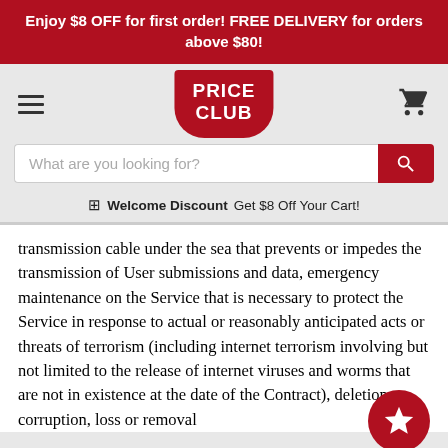Enjoy $8 OFF for first order! FREE DELIVERY for orders above $80!
[Figure (logo): Price Club logo — red rounded-bottom rectangle with white bold text PRICE CLUB]
Welcome Discount  Get $8 Off Your Cart!
transmission cable under the sea that prevents or impedes the transmission of User submissions and data, emergency maintenance on the Service that is necessary to protect the Service in response to actual or reasonably anticipated acts or threats of terrorism (including internet terrorism involving but not limited to the release of internet viruses and worms that are not in existence at the date of the Contract), deletion, corruption, loss or removal